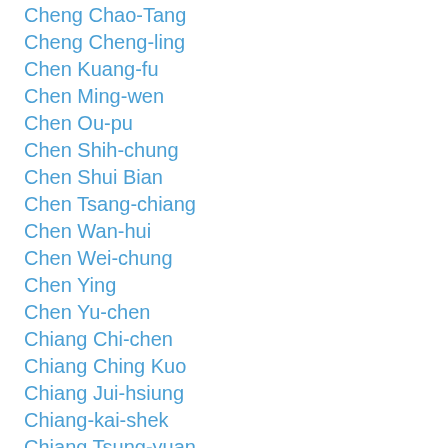Cheng Chao-Tang
Cheng Cheng-ling
Chen Kuang-fu
Chen Ming-wen
Chen Ou-pu
Chen Shih-chung
Chen Shui Bian
Chen Tsang-chiang
Chen Wan-hui
Chen Wei-chung
Chen Ying
Chen Yu-chen
Chiang Chi-chen
Chiang Ching Kuo
Chiang Jui-hsiung
Chiang-kai-shek
Chiang Tsung-yuan
Chiang Wan-an
Chin Hui Chu
Chou Chiang-chieh
Chou Chun-mi